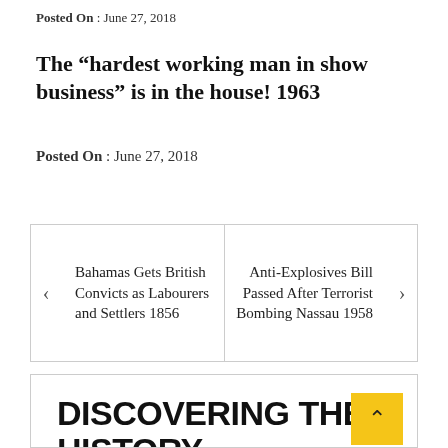Posted On : June 27, 2018
The “hardest working man in show business” is in the house! 1963
Posted On : June 27, 2018
| Bahamas Gets British Convicts as Labourers and Settlers 1856 | Anti-Explosives Bill Passed After Terrorist Bombing Nassau 1958 |
DISCOVERING THE HISTORY